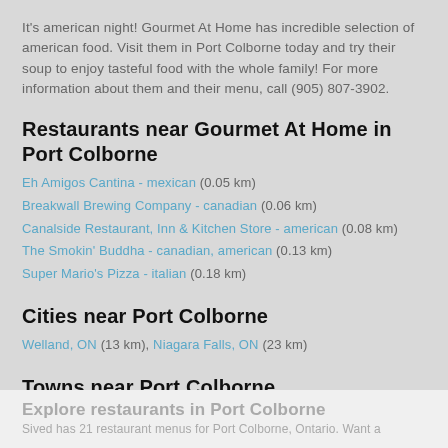It's american night! Gourmet At Home has incredible selection of american food. Visit them in Port Colborne today and try their soup to enjoy tasteful food with the whole family! For more information about them and their menu, call (905) 807-3902.
Restaurants near Gourmet At Home in Port Colborne
Eh Amigos Cantina - mexican (0.05 km)
Breakwall Brewing Company - canadian (0.06 km)
Canalside Restaurant, Inn & Kitchen Store - american (0.08 km)
The Smokin' Buddha - canadian, american (0.13 km)
Super Mario's Pizza - italian (0.18 km)
Cities near Port Colborne
Welland, ON (13 km), Niagara Falls, ON (23 km)
Towns near Port Colborne
Ridgeway, ON (16 km), Crystal Beach, ON (16 km), Stevensville, ON (18 km), Fonthill, ON (18 km), Fort Erie, ON (24 km)
Explore restaurants in Port Colborne
Sived has 21 restaurant menus for Port Colborne, Ontario. Want a